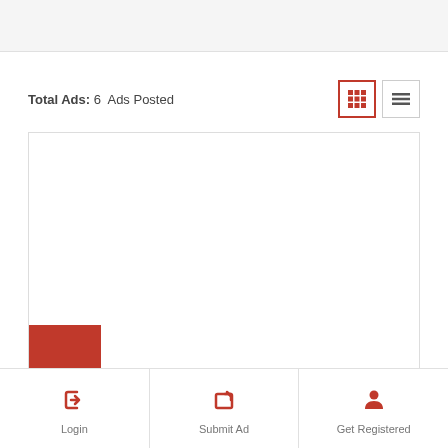Total Ads: 6  Ads Posted
[Figure (screenshot): Content card area with a red square in the bottom-left corner, representing a listing thumbnail placeholder]
Login  Submit Ad  Get Registered